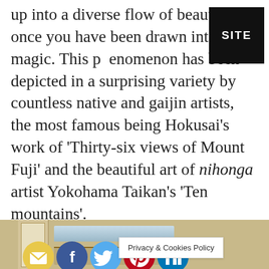up into a diverse flow of beauty, once you have been drawn into its magic. This phenomenon has been depicted in a surprising variety by countless native and gaijin artists, the most famous being Hokusai's work of 'Thirty-six views of Mount Fuji' and the beautiful art of nihonga artist Yokohama Taikan's 'Ten mountains'.
[Figure (other): SITE badge overlay (black rectangle with white text 'SITE')]
[Figure (other): Social sharing icons overlaid on text: email (yellow), Facebook (blue), Twitter (light blue), Pinterest (red), LinkedIn (blue), Instagram (red/pink gradient), WhatsApp (green)]
[Figure (other): Bottom portion of a Japanese woodblock print image with beige/tan tones, showing partial landscape]
Privacy & Cookies Policy